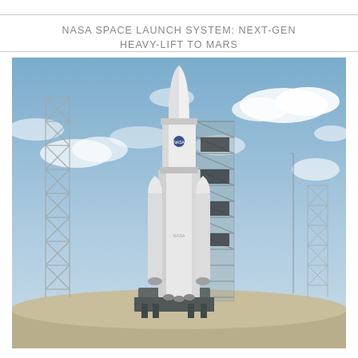NASA SPACE LAUNCH SYSTEM: NEXT-GEN HEAVY-LIFT TO MARS
[Figure (photo): Rendered illustration of NASA Space Launch System (SLS) rocket on a launch pad with support tower structures, set against a partly cloudy blue sky. The white rocket with NASA markings is shown on a mobile launch platform with lattice-work service towers on either side.]